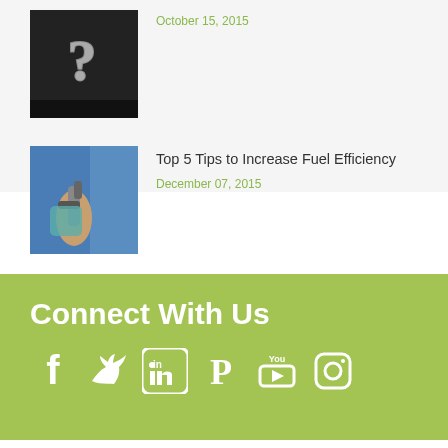[Figure (photo): Photo of a question mark on a dark surface]
October 15, 2015
[Figure (photo): Person holding a fuel nozzle at a gas pump]
Top 5 Tips to Increase Fuel Efficiency
December 07, 2015
Connect With Us